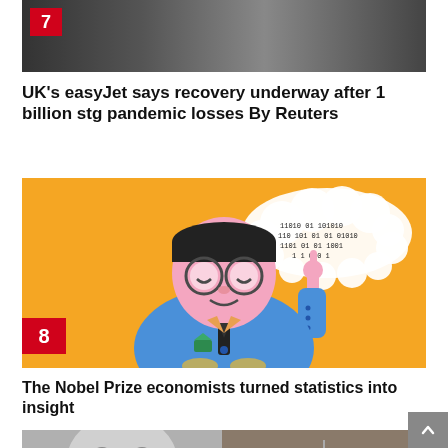[Figure (photo): Dark news photo with item number 7 badge in top-left corner]
UK’s easyJet says recovery underway after 1 billion stg pandemic losses By Reuters
[Figure (illustration): Illustration of a cartoon figure in a blue suit with glasses pointing at a binary code thought bubble, on a yellow background. Item number 8 badge in bottom-left corner.]
The Nobel Prize economists turned statistics into insight
[Figure (photo): Black and white photo of a person's face on the left and a satellite or drone image on the right, partially visible at bottom of page]